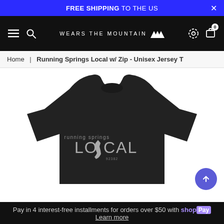FREE SHIPPING TO THE US
WEARS THE MOUNTAIN
Home | Running Springs Local w/ Zip - Unisex Jersey T
[Figure (photo): Black t-shirt with 'running springs LOCAL' graphic print featuring California state outline replacing the 'C' letter.]
Pay in 4 interest-free installments for orders over $50 with Shop Pay
Learn more